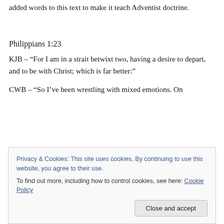added words to this text to make it teach Adventist doctrine.
Philippians 1:23
KJB – “For I am in a strait betwixt two, having a desire to depart, and to be with Christ; which is far better:”
CWB – “So I’ve been wrestling with mixed emotions. On
Privacy & Cookies: This site uses cookies. By continuing to use this website, you agree to their use.
To find out more, including how to control cookies, see here: Cookie Policy